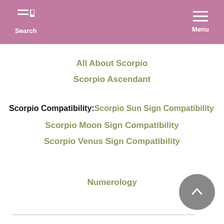Search   Menu
All About Scorpio
Scorpio Ascendant
Scorpio Compatibility: Scorpio Sun Sign Compatibility
Scorpio Moon Sign Compatibility
Scorpio Venus Sign Compatibility
Numerology